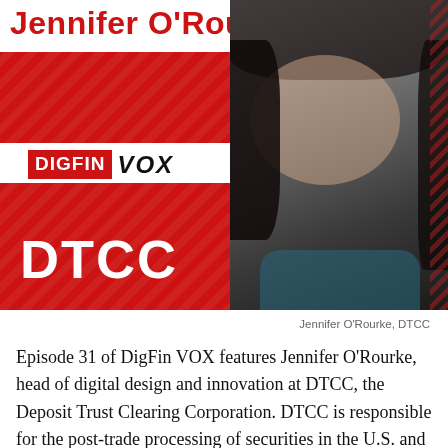[Figure (infographic): Promotional banner for DigFin VOX Episode 31 featuring Jennifer O'Rourke from DTCC. Red and white banner with person's photo on the right side. Text reads 'Jennifer O'Rourke', 'DIGFIN VOX' logo, and 'DTCC' in large white letters.]
Jennifer O'Rourke, DTCC
Episode 31 of DigFin VOX features Jennifer O’Rourke, head of digital design and innovation at DTCC, the Deposit Trust Clearing Corporation. DTCC is responsible for the post-trade processing of securities in the U.S. and